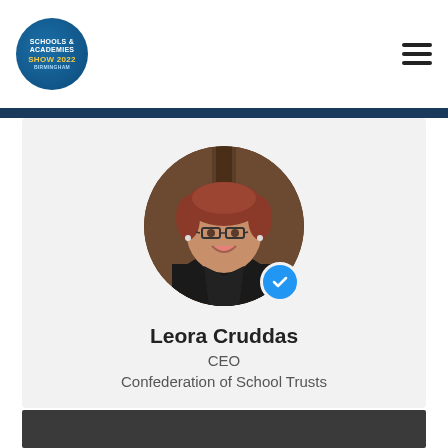Schools & Academies Show 2022
[Figure (photo): Circular profile photo of Leora Cruddas, a woman with glasses and red/auburn hair, wearing a black coat, smiling, with a blue verified checkmark badge overlaid at the bottom right of the circle. Background is a dark wooden door.]
Leora Cruddas
CEO
Confederation of School Trusts